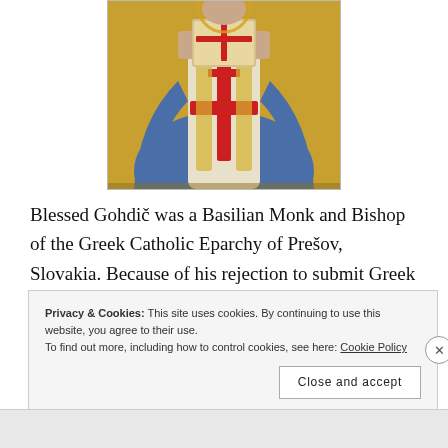[Figure (illustration): Religious icon painting of a bishop/monk in ornate vestments holding a book, with red crosses on white and gold robes, on a gold background]
Blessed Gohdič was a Basilian Monk and Bishop of the Greek Catholic Eparchy of Prešov, Slovakia. Because of his rejection to submit Greek Catholics to the Russian Orthodox Church, as insisted by the
Privacy & Cookies: This site uses cookies. By continuing to use this website, you agree to their use.
To find out more, including how to control cookies, see here: Cookie Policy
Close and accept